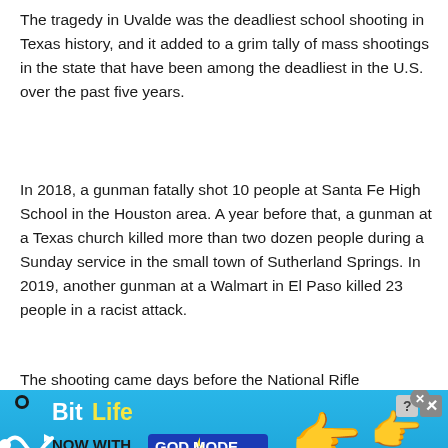The tragedy in Uvalde was the deadliest school shooting in Texas history, and it added to a grim tally of mass shootings in the state that have been among the deadliest in the U.S. over the past five years.
In 2018, a gunman fatally shot 10 people at Santa Fe High School in the Houston area. A year before that, a gunman at a Texas church killed more than two dozen people during a Sunday service in the small town of Sutherland Springs. In 2019, another gunman at a Walmart in El Paso killed 23 people in a racist attack.
The shooting came days before the National Rifle
[Figure (screenshot): Advertisement banner for BitLife game featuring 'Now With GOD MODE' text, decorative hand/finger graphics, help and close buttons, on a light blue gradient background.]